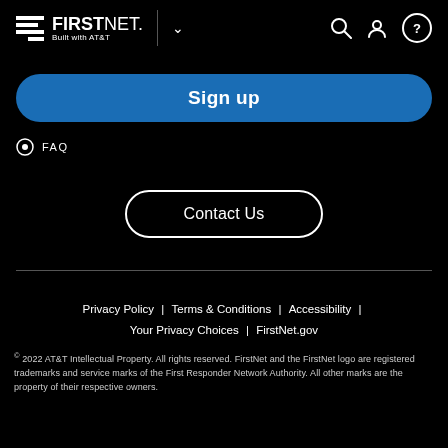[Figure (logo): FirstNet Built with AT&T logo in header navigation bar with hamburger menu icon, chevron dropdown, search icon, user icon, and help icon]
Sign up
FAQ
Contact Us
Privacy Policy | Terms & Conditions | Accessibility | Your Privacy Choices | FirstNet.gov
© 2022 AT&T Intellectual Property. All rights reserved. FirstNet and the FirstNet logo are registered trademarks and service marks of the First Responder Network Authority. All other marks are the property of their respective owners.